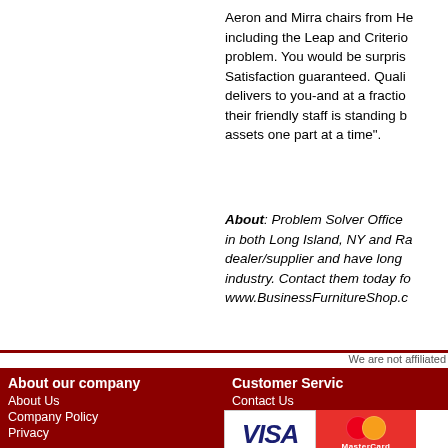Aeron and Mirra chairs from Herman Miller, including the Leap and Criterion...problem. You would be surprised...Satisfaction guaranteed. Quality...delivers to you-and at a fraction...their friendly staff is standing by...assets one part at a time".
About: Problem Solver Office ...in both Long Island, NY and Ra...dealer/supplier and have long...industry. Contact them today fo...www.BusinessFurnitureShop.c...
We are not affiliated...
About our company
About Us
Company Policy
Privacy
Customer Service
Contact Us
[Figure (logo): VISA and MasterCard payment logos]